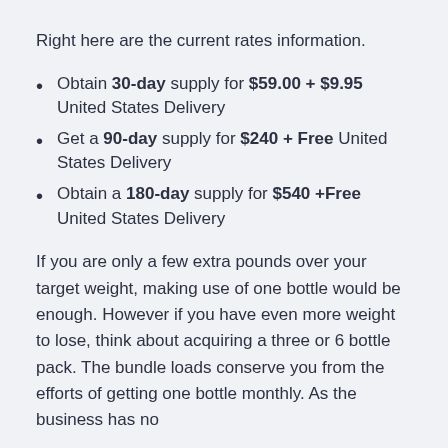Right here are the current rates information.
Obtain 30-day supply for $59.00 + $9.95 United States Delivery
Get a 90-day supply for $240 + Free United States Delivery
Obtain a 180-day supply for $540 +Free United States Delivery
If you are only a few extra pounds over your target weight, making use of one bottle would be enough. However if you have even more weight to lose, think about acquiring a three or 6 bottle pack. The bundle loads conserve you from the efforts of getting one bottle monthly. As the business has no